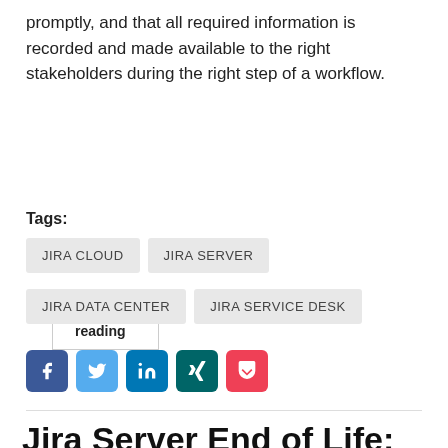promptly, and that all required information is recorded and made available to the right stakeholders during the right step of a workflow.
Continue reading
Tags:
JIRA CLOUD
JIRA SERVER
JIRA DATA CENTER
JIRA SERVICE DESK
[Figure (infographic): Social sharing buttons: Facebook, Twitter, LinkedIn, Xing, Pocket]
Jira Server End of Life: